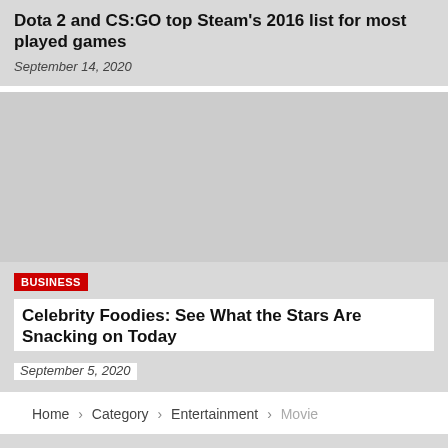Dota 2 and CS:GO top Steam's 2016 list for most played games
September 14, 2020
[Figure (photo): Gray placeholder image for article]
BUSINESS
Celebrity Foodies: See What the Stars Are Snacking on Today
September 5, 2020
Home › Category › Entertainment › Movie